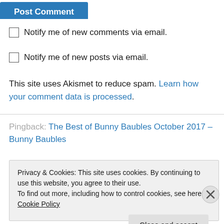[Figure (screenshot): Post Comment blue button (partially visible at top)]
Notify me of new comments via email.
Notify me of new posts via email.
This site uses Akismet to reduce spam. Learn how your comment data is processed.
Pingback: The Best of Bunny Baubles October 2017 – Bunny Baubles
Privacy & Cookies: This site uses cookies. By continuing to use this website, you agree to their use.
To find out more, including how to control cookies, see here: Cookie Policy
Close and accept